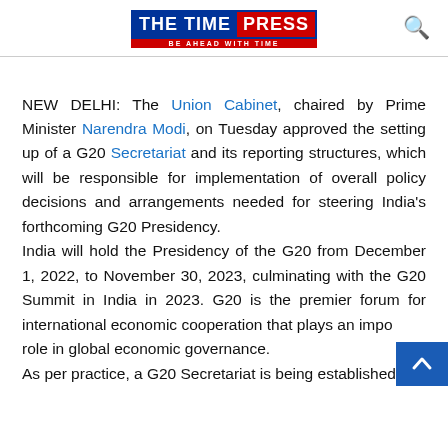THE TIME PRESS — BE AHEAD WITH TIME
NEW DELHI: The Union Cabinet, chaired by Prime Minister Narendra Modi, on Tuesday approved the setting up of a G20 Secretariat and its reporting structures, which will be responsible for implementation of overall policy decisions and arrangements needed for steering India's forthcoming G20 Presidency.
India will hold the Presidency of the G20 from December 1, 2022, to November 30, 2023, culminating with the G20 Summit in India in 2023. G20 is the premier forum for international economic cooperation that plays an important role in global economic governance.
As per practice, a G20 Secretariat is being established to